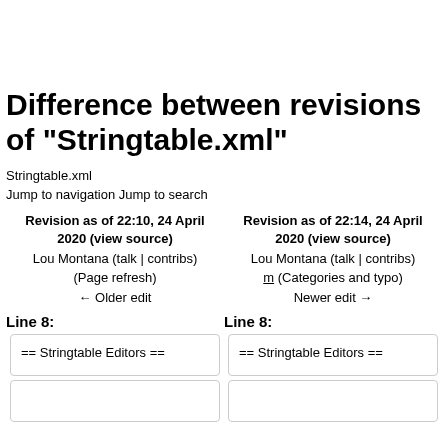Difference between revisions of "Stringtable.xml"
Stringtable.xml
Jump to navigation Jump to search
| Left | Right |
| --- | --- |
| Revision as of 22:10, 24 April 2020 (view source)
Lou Montana (talk | contribs)
(Page refresh)
← Older edit | Revision as of 22:14, 24 April 2020 (view source)
Lou Montana (talk | contribs)
m (Categories and typo)
Newer edit → |
| Line 8: | Line 8: |
| == Stringtable Editors == | == Stringtable Editors == |
|  |  |